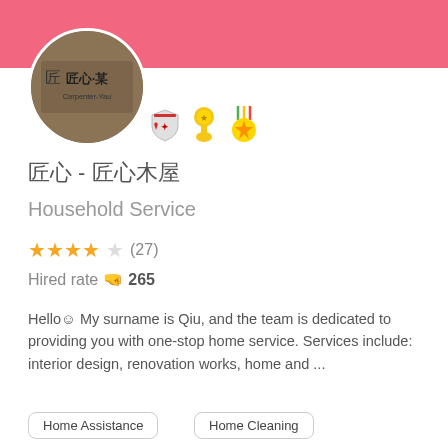[Figure (photo): Circular profile photo showing a wooden sign with Chinese characters 匠心·某 and text Carpenter-Yau]
[Figure (infographic): Three badge/medal emoji icons - shield badge, gold medal, military medal with star]
匠心 - 匠心木屋
Household Service
★★★★☆  (27)
Hired rate 👊 265
Hello☺ My surname is Qiu, and the team is dedicated to providing you with one-stop home service. Services include: interior design, renovation works, home and ...
Home Assistance
Home Cleaning
📍 Diamond Hill
[Figure (photo): Row of small thumbnail photos showing the service provider's work and profile]